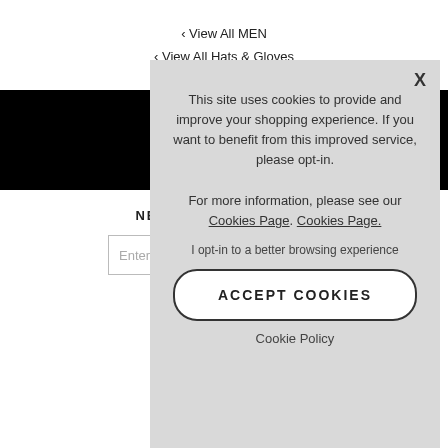‹ View All MEN
‹ View All Hats & Gloves
[Figure (infographic): Black bar with social media icons: Facebook (f), Instagram (circle with square), and a chat/message bubble icon in white]
NEWSLETTER SIGNUP
Enter Your Email
To see how...
This site uses cookies to provide and improve your shopping experience. If you want to benefit from this improved service, please opt-in.
For more information, please see our Cookies Page. Cookies Page.
I opt-in to a better browsing experience
ACCEPT COOKIES
Cookie Policy